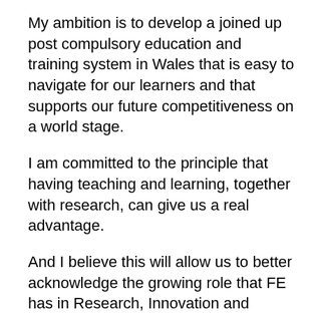My ambition is to develop a joined up post compulsory education and training system in Wales that is easy to navigate for our learners and that supports our future competitiveness on a world stage.
I am committed to the principle that having teaching and learning, together with research, can give us a real advantage.
And I believe this will allow us to better acknowledge the growing role that FE has in Research, Innovation and knowledge transfer.
CTER will plan for an integrated sector. A system that incentivises and facilitates collaboration between providers across the post-16 sector to serve the needs of learners, employers, the wider community and the economy, removing duplication